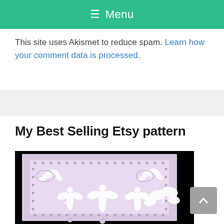≡ Menu
This site uses Akismet to reduce spam. Learn how your comment data is processed.
My Best Selling Etsy pattern
[Figure (photo): White filet crochet lace panel featuring fairy silhouettes, butterflies, and floral motifs on a black background. The rectangular lace piece has a decorative border with circular hole details.]